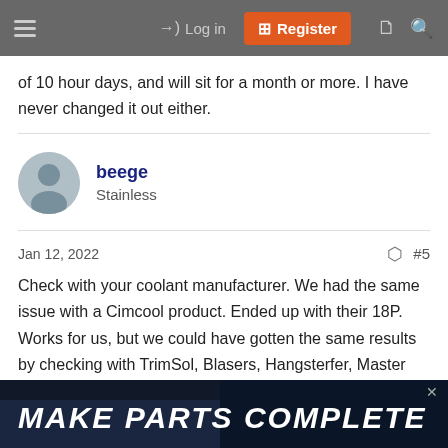Log in | Register
of 10 hour days, and will sit for a month or more. I have never changed it out either.
beege
Stainless
Jan 12, 2022  #5
Check with your coolant manufacturer. We had the same issue with a Cimcool product. Ended up with their 18P. Works for us, but we could have gotten the same results by checking with TrimSol, Blasers, Hangsterfer, Master Chemical...
[Figure (screenshot): Advertisement banner reading MAKE PARTS COMPLETE]